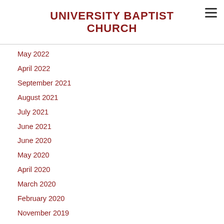UNIVERSITY BAPTIST CHURCH
May 2022
April 2022
September 2021
August 2021
July 2021
June 2021
June 2020
May 2020
April 2020
March 2020
February 2020
November 2019
October 2019
September 2019
August 2019
July 2019